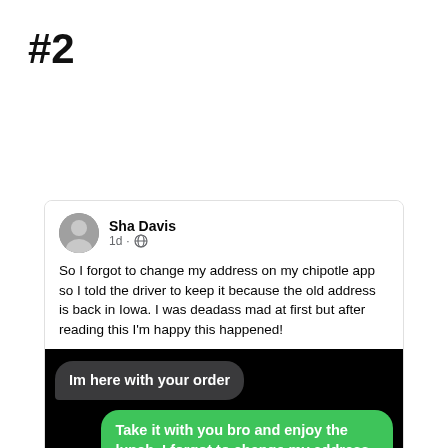#2
[Figure (screenshot): A Facebook post by Sha Davis (1d, public) showing a text message conversation. Post text: 'So I forgot to change my address on my chipotle app so I told the driver to keep it because the old address is back in Iowa. I was deadass mad at first but after reading this I'm happy this happened!' Below is a screenshot of a text chat on black background: Received bubble: 'Im here with your order'. Sent bubble (green): 'Take it with you bro and enjoy the lunch. I forgot to change my address and I currently in Maryland'. Received bubble: 'Umm....Ok thhanks']